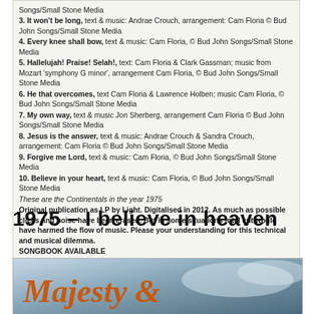Songs/Small Stone Media
3. It won't be long, text & music: Andrae Crouch, arrangement: Cam Floria © Bud John Songs/Small Stone Media
4. Every knee shall bow, text & music: Cam Floria, © Bud John Songs/Small Stone Media
5. Hallelujah! Praise! Selah!, text: Cam Floria & Clark Gassman; music from Mozart 'symphony G minor', arrangement Cam Floria, © Bud John Songs/Small Stone Media
6. He that overcomes, text Cam Floria & Lawrence Holben; music Cam Floria, © Bud John Songs/Small Stone Media
7. My own way, text & music Jon Sherberg, arrangement Cam Floria © Bud John Songs/Small Stone Media
8. Jesus is the answer, text & music: Andrae Crouch & Sandra Crouch, arrangement: Cam Floria © Bud John Songs/Small Stone Media
9. Forgive me Lord, text & music: Cam Floria, © Bud John Songs/Small Stone Media
10. Believe in your heart, text & music: Cam Floria, © Bud John Songs/Small Stone Media
These are the Continentals in the year 1975
Original publication as LP by Light. Digitalised in 2012. As much as possible clicks and noise have been erased. But in some situations total cut would have harmed the flow of music. Please your understanding for this technical and musical dilemma.
SONGBOOK AVAILABLE
The Continentals is a legal © trademark
Continental Ministries Europe & Continental Sound Music
Postbox 81065, 3009 GB Rotterdam, The Netherlands
www.continentalministries.org    www.continentalsound.com
1975 – I believe in heaven
[Figure (photo): Album cover photo showing 'Majesty &' text in orange stylized font over a sky/cloud background]